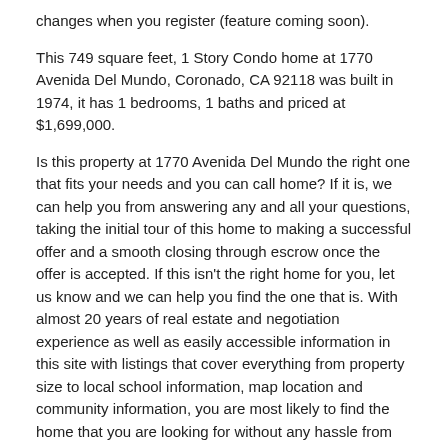changes when you register (feature coming soon).
This 749 square feet, 1 Story Condo home at 1770 Avenida Del Mundo, Coronado, CA 92118 was built in 1974, it has 1 bedrooms, 1 baths and priced at $1,699,000.
Is this property at 1770 Avenida Del Mundo the right one that fits your needs and you can call home? If it is, we can help you from answering any and all your questions, taking the initial tour of this home to making a successful offer and a smooth closing through escrow once the offer is accepted. If this isn't the right home for you, let us know and we can help you find the one that is. With almost 20 years of real estate and negotiation experience as well as easily accessible information in this site with listings that cover everything from property size to local school information, map location and community information, you are most likely to find the home that you are looking for without any hassle from us. We never call or bother you with unnecessary emails. We'll only contact you to provide you the information you asked for.
Similar listings